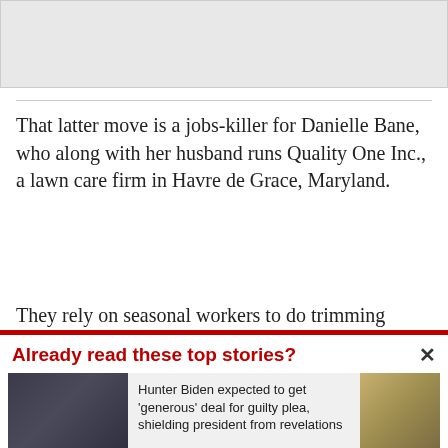[Figure (photo): Gray placeholder image area at top of page]
That latter move is a jobs-killer for Danielle Bane, who along with her husband runs Quality One Inc., a lawn care firm in Havre de Grace, Maryland.
They rely on seasonal workers to do trimming
Already read these top stories?
[Figure (photo): Photo of Hunter Biden at left; photo of officials at right]
Hunter Biden expected to get 'generous' deal for guilty plea, shielding president from revelations